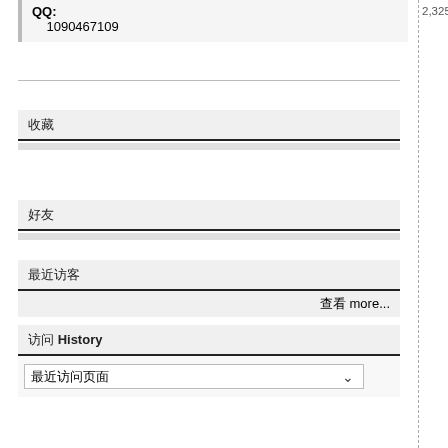QQ: 1090467109
收藏
好友
最近访客
查看 more...
访问 History
最近访问页面 (dropdown)
2,325帖子 | 积分: 积分 special crane | 积分: LHM50